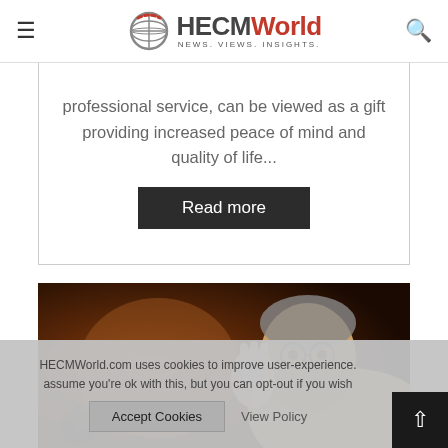HECMWorld NEWS. VIEWS. INSIGHTS.
professional service, can be viewed as a gift providing increased peace of mind and quality of life...
Read more
[Figure (photo): Elderly person with glasses looking downward against a warm brown/orange background]
HECMWorld.com uses cookies to improve user-experience. assume you're ok with this, but you can opt-out if you wish.
Accept Cookies
View Policy